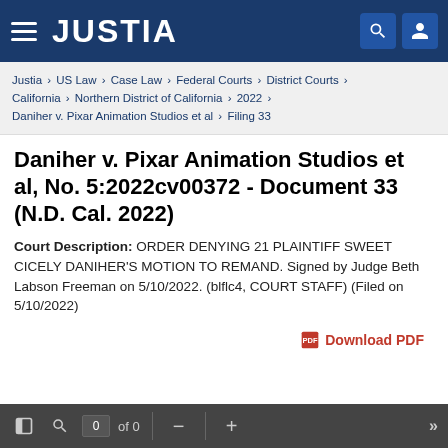JUSTIA
Justia › US Law › Case Law › Federal Courts › District Courts › California › Northern District of California › 2022 › Daniher v. Pixar Animation Studios et al › Filing 33
Daniher v. Pixar Animation Studios et al, No. 5:2022cv00372 - Document 33 (N.D. Cal. 2022)
Court Description: ORDER DENYING 21 PLAINTIFF SWEET CICELY DANIHER'S MOTION TO REMAND. Signed by Judge Beth Labson Freeman on 5/10/2022. (blflc4, COURT STAFF) (Filed on 5/10/2022)
Download PDF